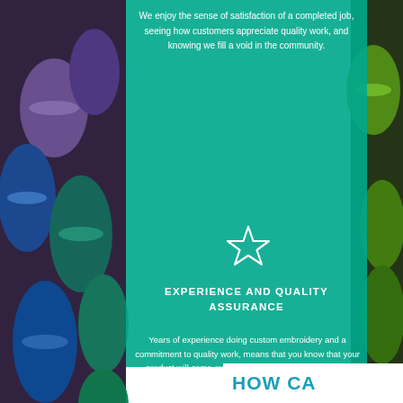[Figure (photo): Background photo of colorful thread spools/bobbins in blue, purple, green, and teal colors arranged vertically]
We enjoy the sense of satisfaction of a completed job, seeing how customers appreciate quality work, and knowing we fill a void in the community.
[Figure (illustration): White outlined star icon on teal background]
EXPERIENCE AND QUALITY ASSURANCE
Years of experience doing custom embroidery and a commitment to quality work, means that you know that your product will come out just as you wanted, if not better.
HOW CA